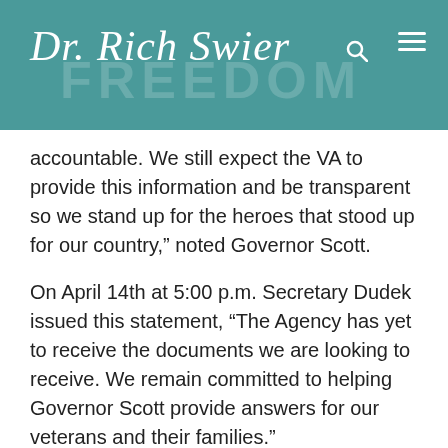Dr. Rich Swier
accountable. We still expect the VA to provide this information and be transparent so we stand up for the heroes that stood up for our country,” noted Governor Scott.
On April 14th at 5:00 p.m. Secretary Dudek issued this statement, “The Agency has yet to receive the documents we are looking to receive. We remain committed to helping Governor Scott provide answers for our veterans and their families.”
Governor Scott responded to the lack of